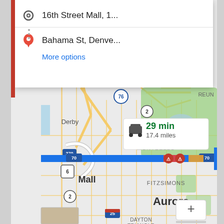[Figure (screenshot): Google Maps screenshot showing a route from 16th Street Mall in Denver to Bahama St, Denver. The map shows the Denver metro area including areas like Derby, Montbello, Aurora, Fitzsimons, and Dayton Triangle. A blue route line runs along I-70 eastbound. A route info bubble shows 29 min and 17.4 miles. Traffic incidents are marked along the route. Route input panel at top shows origin '16th Street Mall, 1...' and destination 'Bahama St, Denve...' with a 'More options' link.]